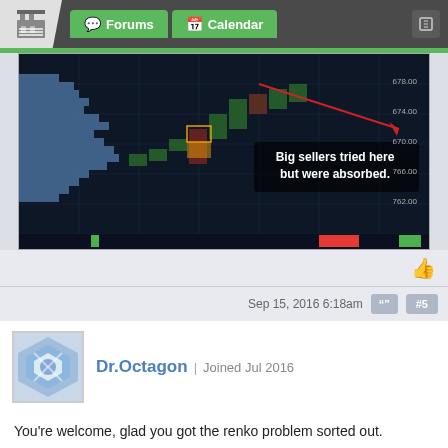Forums | Calendar
[Figure (screenshot): Trading chart screenshot showing order flow / footprint chart with annotation: 'Big sellers tried here but were absorbed.']
Sep 15, 2016 6:18am  #5
[Figure (photo): Avatar image for user Dr.Octagon — blue/white geometric pattern]
Dr.Octagon | Joined Jul 2016
You're welcome, glad you got the renko problem sorted out.
[Figure (other): IRONBEAM advertisement: Nano Bitcoin Futures — Faster Trading | Take Either Side | Hedge Your Exposure]